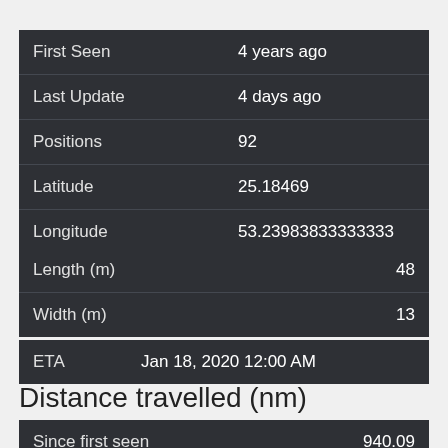| Field | Value |
| --- | --- |
| First Seen | 4 years ago |
| Last Update | 4 days ago |
| Positions | 92 |
| Latitude | 25.18469 |
| Longitude | 53.23983833333333 |
| Field | Value |
| --- | --- |
| Length (m) | 48 |
| Width (m) | 13 |
| Field | Value |
| --- | --- |
| ETA | Jan 18, 2020 12:00 AM |
Distance travelled (nm)
| Field | Value |
| --- | --- |
| Since first seen | 940.09 |